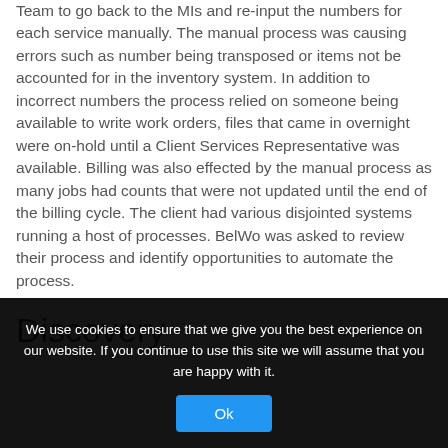Team to go back to the MIs and re-input the numbers for each service manually. The manual process was causing errors such as number being transposed or items not be accounted for in the inventory system. In addition to incorrect numbers the process relied on someone being available to write work orders, files that came in overnight were on-hold until a Client Services Representative was available. Billing was also effected by the manual process as many jobs had counts that were not updated until the end of the billing cycle. The client had various disjointed systems running a host of processes. BelWo was asked to review their process and identify opportunities to automate the process.
Discovery
We use cookies to ensure that we give you the best experience on our website. If you continue to use this site we will assume that you are happy with it.